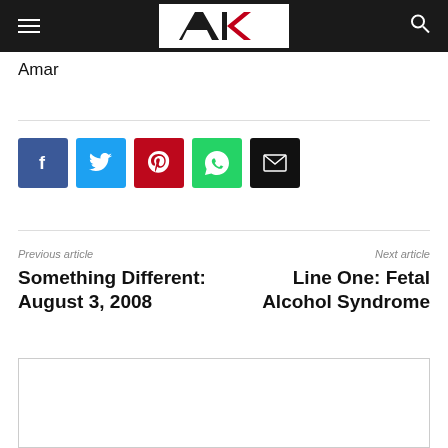Alaska Public Media
Amar
[Figure (infographic): Social share buttons: Facebook (blue), Twitter (light blue), Pinterest (red), WhatsApp (green), Email (black)]
Previous article
Something Different: August 3, 2008
Next article
Line One: Fetal Alcohol Syndrome